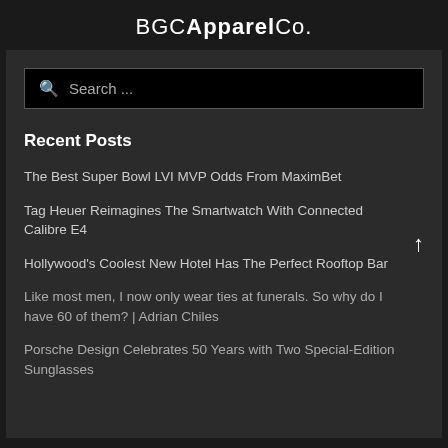BGC Apparel Co.
[Figure (screenshot): Search bar with magnifying glass icon and 'Search ...' placeholder text on black background]
Recent Posts
The Best Super Bowl LVI MVP Odds From MaximBet
Tag Heuer Reimagines The Smartwatch With Connected Calibre E4
Hollywood's Coolest New Hotel Has The Perfect Rooftop Bar
Like most men, I now only wear ties at funerals. So why do I have 60 of them? | Adrian Chiles
Porsche Design Celebrates 50 Years with Two Special-Edition Sunglasses